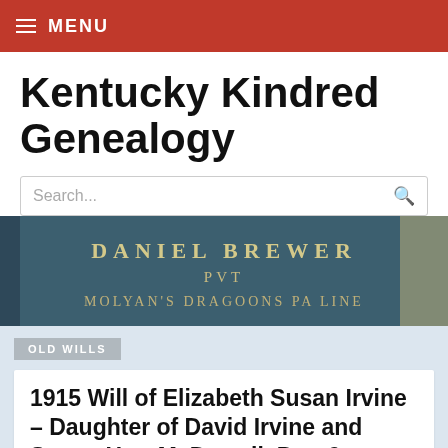MENU
Kentucky Kindred Genealogy
[Figure (photo): Gravestone marker reading DANIEL BREWER PVT MOLYAN'S DRAGOONS PA LINE]
OLD WILLS
1915 Will of Elizabeth Susan Irvine – Daughter of David Irvine and Susan Hart McDowell, Part 2